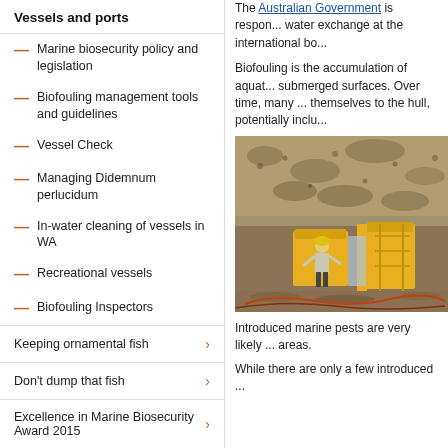Vessels and ports
Marine biosecurity policy and legislation
Biofouling management tools and guidelines
Vessel Check
Managing Didemnum perlucidum
In-water cleaning of vessels in WA
Recreational vessels
Biofouling Inspectors
Keeping ornamental fish
Don't dump that fish
Excellence in Marine Biosecurity Award 2015
The Aquatic Biosecurity Charter
The Australian Government is respon... water exchange at the international bo...
Biofouling is the accumulation of aquat... submerged surfaces. Over time, many ... themselves to the hull, potentially inclu...
[Figure (photo): A worker in a yellow hard hat working beneath a vessel's hull, which is covered in heavy biofouling (barnacles and marine growth). Yellow industrial equipment is visible.]
Introduced marine pests are very likely ... areas.
While there are only a few introduced ...